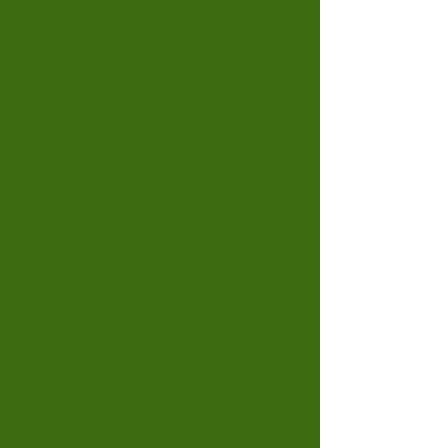[Figure (other): Large dark green rectangular panel occupying the left ~71% of the page]
Dare I say the wor
This week, McCain order of who's on t down, it's not time